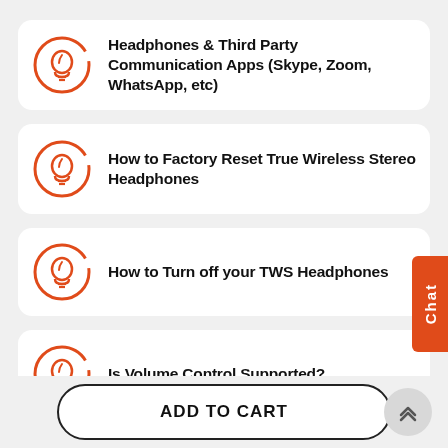Headphones & Third Party Communication Apps (Skype, Zoom, WhatsApp, etc)
How to Factory Reset True Wireless Stereo Headphones
How to Turn off your TWS Headphones
Is Volume Control Supported?
ADD TO CART